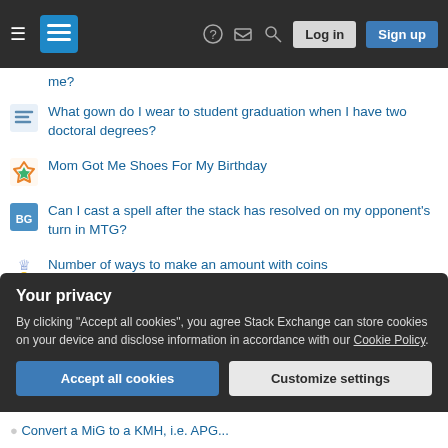Stack Exchange navigation header with Log in and Sign up buttons
me?
What gown do I wear to student graduation when I have two doctoral degrees?
Mom Got Me Shoes For My Birthday
Can I cast a spell after the stack has resolved on my opponent's turn in MTG?
Number of ways to make an amount with coins
What is the argument of this function?
What's this stuff that looks like white chainmail armor growing on giant kelp?
What is a pisserroo?
Your privacy
By clicking "Accept all cookies", you agree Stack Exchange can store cookies on your device and disclose information in accordance with our Cookie Policy.
Accept all cookies | Customize settings